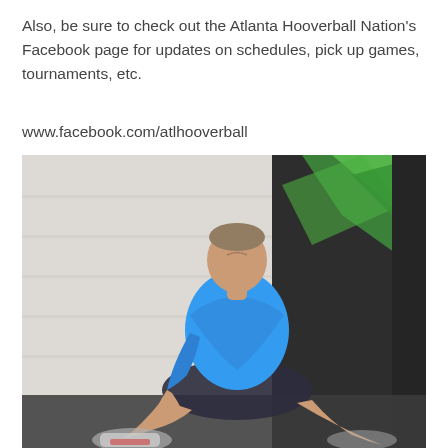Also, be sure to check out the Atlanta Hooverball Nation's Facebook page for updates on schedules, pick up games, tournaments, etc.
www.facebook.com/atlhooverball
[Figure (photo): A man wearing a blue t-shirt and dark shorts sits on a gym floor with his knees up, leaning back slightly and looking upward. Behind him is a white brick wall and green and black gym equipment or signage.]